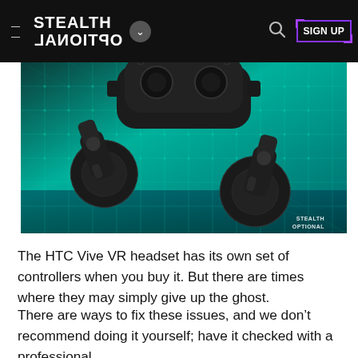STEALTH OPTIONAL — SIGN UP
[Figure (photo): HTC Vive VR headset viewed from above with two Vive wand controllers on a teal/green grid background. Watermark reads STEALTH OPTIONAL in bottom right corner.]
The HTC Vive VR headset has its own set of controllers when you buy it. But there are times where they may simply give up the ghost.
There are ways to fix these issues, and we don't recommend doing it yourself; have it checked with a professional.